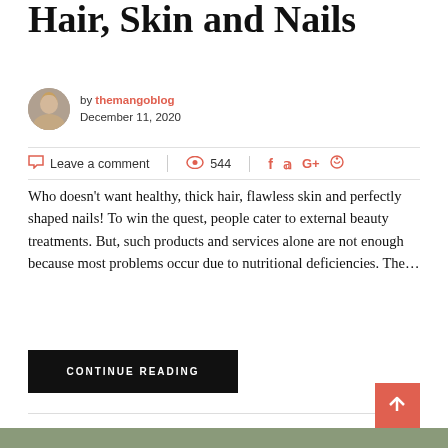Hair, Skin and Nails
by themangoblog
December 11, 2020
Leave a comment   544
Who doesn't want healthy, thick hair, flawless skin and perfectly shaped nails! To win the quest, people cater to external beauty treatments. But, such products and services alone are not enough because most problems occur due to nutritional deficiencies. The...
CONTINUE READING